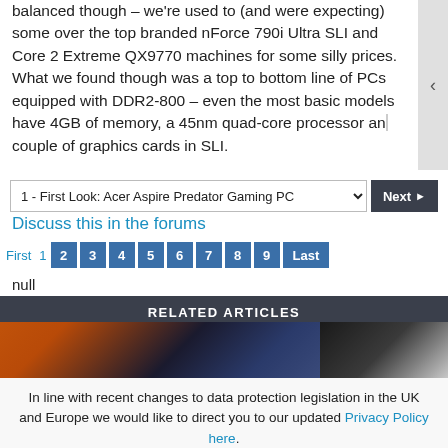balanced though – we're used to (and were expecting) some over the top branded nForce 790i Ultra SLI and Core 2 Extreme QX9770 machines for some silly prices. What we found though was a top to bottom line of PCs equipped with DDR2-800 – even the most basic models have 4GB of memory, a 45nm quad-core processor and a couple of graphics cards in SLI.
1 - First Look: Acer Aspire Predator Gaming PC | Next
Discuss this in the forums
First  1  2  3  4  5  6  7  8  9  Last
null
RELATED ARTICLES
[Figure (photo): Two related article thumbnail images side by side]
In line with recent changes to data protection legislation in the UK and Europe we would like to direct you to our updated Privacy Policy here.
Dismiss